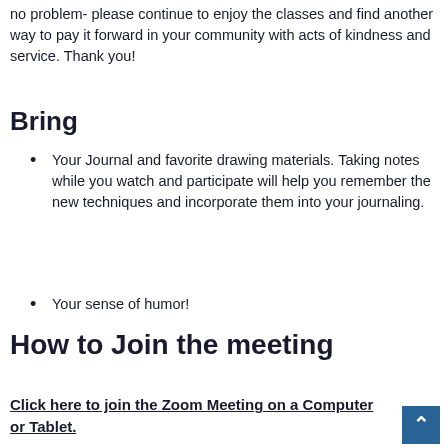no problem- please continue to enjoy the classes and find another way to pay it forward in your community with acts of kindness and service. Thank you!
Bring
Your Journal and favorite drawing materials. Taking notes while you watch and participate will help you remember the new techniques and incorporate them into your journaling.
Your sense of humor!
How to Join the meeting
Click here to join the Zoom Meeting on a Computer or Tablet.